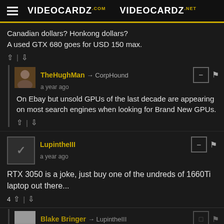VIDEOCARDZ.COM  VIDEOCARDZ.NET
Canadian dollars? Honkong dollars?
A used GTX 680 goes for USD 150 max.
TheHughMan → CorpHound
a year ago
On Ebay but unsold GPUs of the last decade are appearing on most search engines when looking for Brand New GPUs.
LupintheIII
a year ago
RTX 3050 is a joke, just buy one of the undreds of 1660Ti laptop out there...
4 ^ | v
Blake Bringer → LupintheIII
a year ago
They'll sell it on the basis of DLSS alone. And believe it or